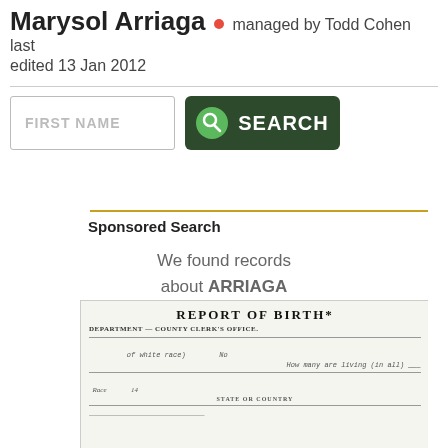Marysol Arriaga • managed by Todd Cohen last edited 13 Jan 2012
[Figure (screenshot): Search form with FIRST NAME text input and a dark green SEARCH button with magnifying glass icon]
Sponsored Search
We found records about ARRIAGA
[Figure (photo): Scanned image of a Report of Birth document from the Department County Clerk's Office with handwritten entries]